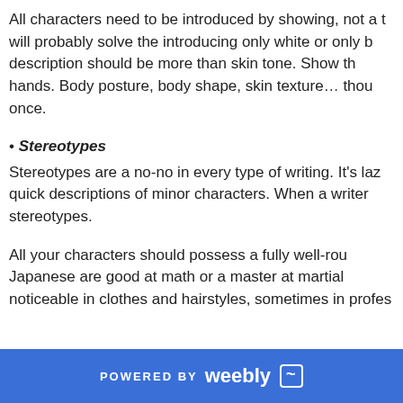All characters need to be introduced by showing, not a telling will probably solve the introducing only white or only black description should be more than skin tone. Show the hands. Body posture, body shape, skin texture… though once.
• Stereotypes
Stereotypes are a no-no in every type of writing. It's lazy quick descriptions of minor characters. When a writer stereotypes.
All your characters should possess a fully well-rounded Japanese are good at math or a master at martial noticeable in clothes and hairstyles, sometimes in profes
POWERED BY weebly